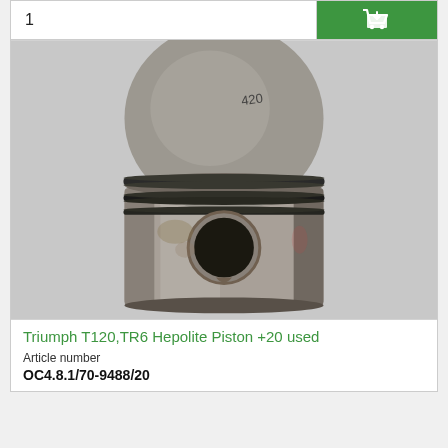[Figure (photo): A used Triumph T120/TR6 Hepolite piston +20, metallic silver-grey, showing piston rings and a wrist pin hole, photographed against a light grey background. Handwritten mark '420' visible on top.]
Triumph T120,TR6 Hepolite Piston +20 used
Article number
OC4.8.1/70-9488/20